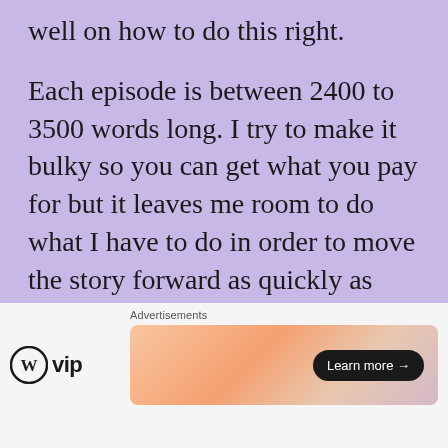well on how to do this right.
Each episode is between 2400 to 3500 words long. I try to make it bulky so you can get what you pay for but it leaves me room to do what I have to do in order to move the story forward as quickly as possible.
I'm a 40 chapter/episode type of writer, so that's what I'm pushing for in this book (in case you were wondering)
Since I post three times a week (see below), I
[Figure (other): Advertisement banner showing WordPress VIP logo on the left and a gradient colored banner with 'Learn more →' button on the right. Labeled 'Advertisements' at top.]